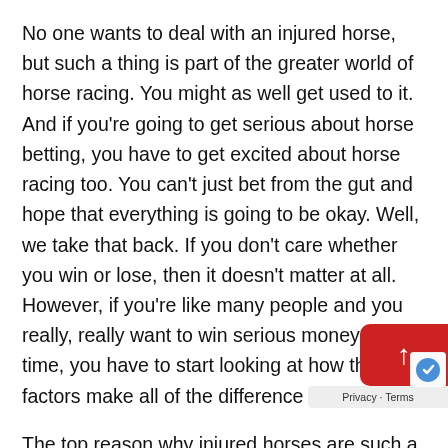No one wants to deal with an injured horse, but such a thing is part of the greater world of horse racing. You might as well get used to it. And if you're going to get serious about horse betting, you have to get excited about horse racing too. You can't just bet from the gut and hope that everything is going to be okay. Well, we take that back. If you don't care whether you win or lose, then it doesn't matter at all. However, if you're like many people and you really, really want to win serious money over time, you have to start looking at how these factors make all of the difference in the world.
The top reason why injured horses are such a wildcard is that you really never know how healed they are until they've done another race. This is where you want to look and see their pace, how they handled the jockey, how they race, the start of it. If By...